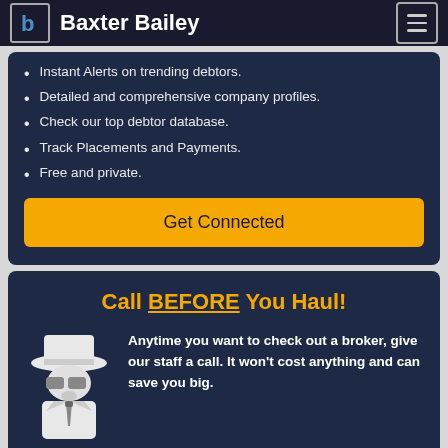Baxter Bailey
Instant Alerts on trending debtors.
Detailed and comprehensive company profiles.
Check our top debtor database.
Track Placements and Payments.
Free and private.
Get Connected
Call BEFORE You Haul!
Anytime you want to check out a broker, give our staff a call. It won't cost anything and can save you big.
(866) 921-5873